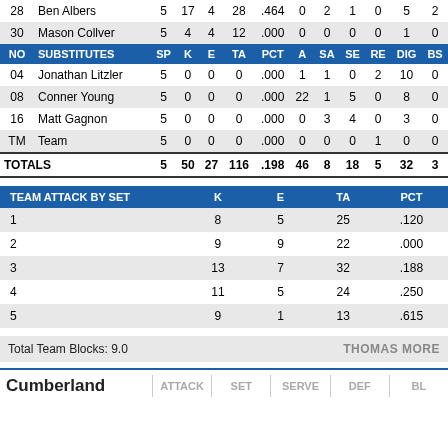| NO | NAME | SP | K | E | TA | PCT | A | SA | SE | RE | DIG | BS |
| --- | --- | --- | --- | --- | --- | --- | --- | --- | --- | --- | --- | --- |
| 28 | Ben Albers | 5 | 17 | 4 | 28 | .464 | 0 | 2 | 1 | 0 | 5 | 2 |
| 30 | Mason Collver | 5 | 4 | 4 | 12 | .000 | 0 | 0 | 0 | 0 | 1 | 0 |
| NO | SUBSTITUTES | SP | K | E | TA | PCT | A | SA | SE | RE | DIG | BS |
| 04 | Jonathan Litzler | 5 | 0 | 0 | 0 | .000 | 1 | 1 | 0 | 2 | 10 | 0 |
| 08 | Conner Young | 5 | 0 | 0 | 0 | .000 | 22 | 1 | 5 | 0 | 8 | 0 |
| 16 | Matt Gagnon | 5 | 0 | 0 | 0 | .000 | 0 | 3 | 4 | 0 | 3 | 0 |
| TM | Team | 5 | 0 | 0 | 0 | .000 | 0 | 0 | 0 | 1 | 0 | 0 |
| TOTALS |  | 5 | 50 | 27 | 116 | .198 | 46 | 8 | 18 | 5 | 32 | 3 |
| TEAM ATTACK BY SET | K | E | TA | PCT |
| --- | --- | --- | --- | --- |
| 1 | 8 | 5 | 25 | .120 |
| 2 | 9 | 9 | 22 | .000 |
| 3 | 13 | 7 | 32 | .188 |
| 4 | 11 | 5 | 24 | .250 |
| 5 | 9 | 1 | 13 | .615 |
Total Team Blocks: 9.0
THOMAS MORE
Cumberland
ATTACK | SET | SERVE | DEF | BL